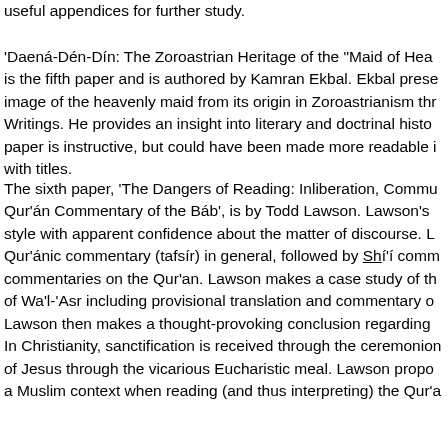useful appendices for further study.
'Daená-Dén-Dín: The Zoroastrian Heritage of the "Maid of Hea is the fifth paper and is authored by Kamran Ekbal. Ekbal prese image of the heavenly maid from its origin in Zoroastrianism thr Writings. He provides an insight into literary and doctrinal histo paper is instructive, but could have been made more readable i with titles.
The sixth paper, 'The Dangers of Reading: Inliberation, Commu Qur'án Commentary of the Báb', is by Todd Lawson. Lawson's style with apparent confidence about the matter of discourse. L Qur'ánic commentary (tafsír) in general, followed by Shí'í comm commentaries on the Qur'an. Lawson makes a case study of th of Wa'l-'Asr including provisional translation and commentary o Lawson then makes a thought-provoking conclusion regarding In Christianity, sanctification is received through the ceremonion of Jesus through the vicarious Eucharistic meal. Lawson propo a Muslim context when reading (and thus interpreting) the Qur'a